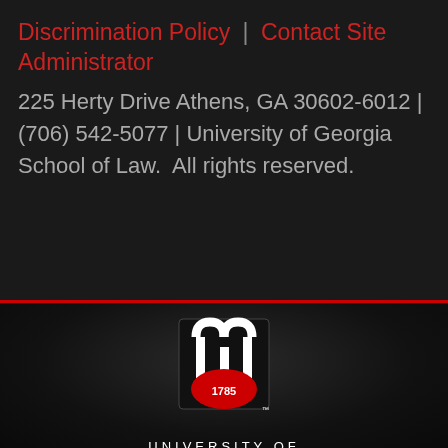Discrimination Policy  |  Contact Site Administrator
225 Herty Drive Athens, GA 30602-6012 | (706) 542-5077 | University of Georgia School of Law.  All rights reserved.
[Figure (logo): University of Georgia logo with arch icon and 1785 seal, with text UNIVERSITY OF GEORGIA]
Schools and Colleges
Directory
MyUGA
Employment Opportunities